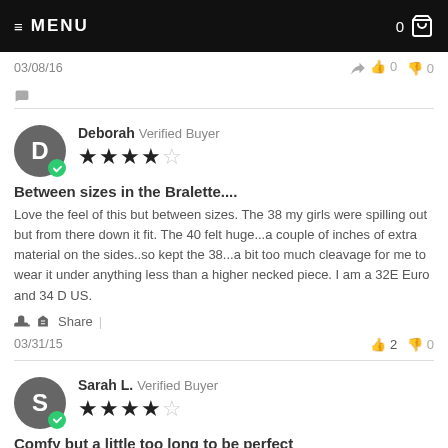≡ MENU   0 🛒
03/08/16   👍 0  👎 0
Deborah  Verified Buyer  ★★★★☆
Between sizes in the Bralette....
Love the feel of this but between sizes. The 38 my girls were spilling out but from there down it fit. The 40 felt huge...a couple of inches of extra material on the sides..so kept the 38...a bit too much cleavage for me to wear it under anything less than a higher necked piece. I am a 32E Euro and 34 D US.
Share |
03/31/15   👍 2  👎 0
Sarah L.  Verified Buyer  ★★★★☆
Comfy but a little too long to be perfect